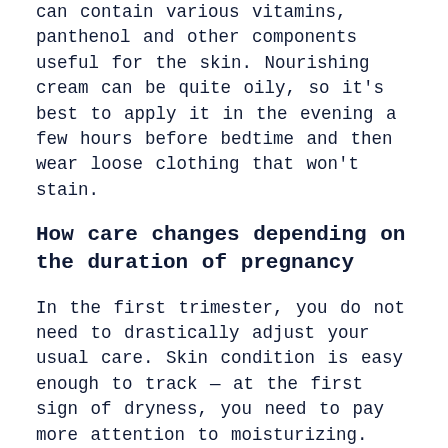can contain various vitamins, panthenol and other components useful for the skin. Nourishing cream can be quite oily, so it's best to apply it in the evening a few hours before bedtime and then wear loose clothing that won't stain.
How care changes depending on the duration of pregnancy
In the first trimester, you do not need to drastically adjust your usual care. Skin condition is easy enough to track — at the first sign of dryness, you need to pay more attention to moisturizing.
From the second trimester, anti-stretch marks may appear in the body care complex. To prevent irreversible changes in the skin, they must be used before, whilst they and from about three months after